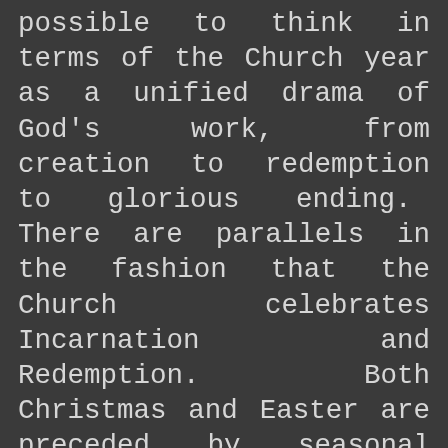possible to think in terms of the Church year as a unified drama of God's work, from creation to redemption to glorious ending. There are parallels in the fashion that the Church celebrates Incarnation and Redemption. Both Christmas and Easter are preceded by seasonal periods of penance, Advent and Lent respectively, though the length and format of each season took centuries to evolve. Both feasts have a solid week or octave of solemnity and a broader season of celebration. Christmas Season extends from Vespers of December 24 through the Feast of the Baptism of the Lord [January 13] The Easter Season extends forty days till the Feast of the Ascension, and another ten